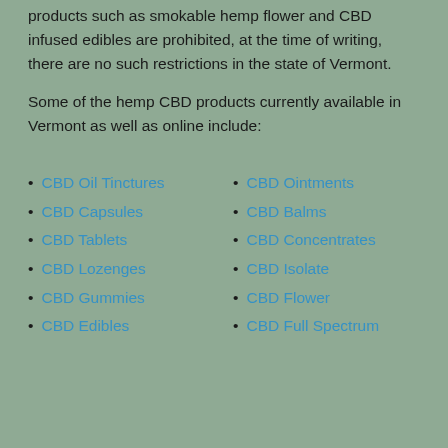products such as smokable hemp flower and CBD infused edibles are prohibited, at the time of writing, there are no such restrictions in the state of Vermont.
Some of the hemp CBD products currently available in Vermont as well as online include:
CBD Oil Tinctures
CBD Capsules
CBD Tablets
CBD Lozenges
CBD Gummies
CBD Edibles
CBD Ointments
CBD Balms
CBD Concentrates
CBD Isolate
CBD Flower
CBD Full Spectrum